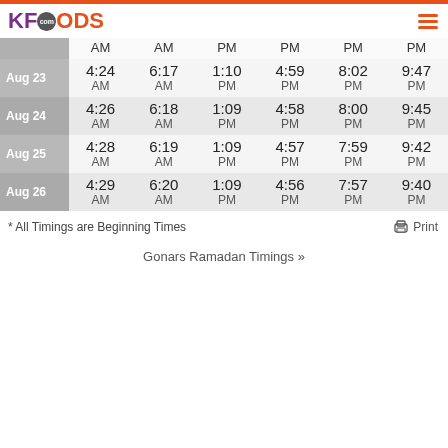KFOODS.com
| Date | Sehri | Fajr | Dhuhr | Asr | Maghrib | Isha |
| --- | --- | --- | --- | --- | --- | --- |
|  | AM | AM | PM | PM | PM | PM |
| Aug 23 | 4:24 AM | 6:17 AM | 1:10 PM | 4:59 PM | 8:02 PM | 9:47 PM |
| Aug 24 | 4:26 AM | 6:18 AM | 1:09 PM | 4:58 PM | 8:00 PM | 9:45 PM |
| Aug 25 | 4:28 AM | 6:19 AM | 1:09 PM | 4:57 PM | 7:59 PM | 9:42 PM |
| Aug 26 | 4:29 AM | 6:20 AM | 1:09 PM | 4:56 PM | 7:57 PM | 9:40 PM |
* All Timings are Beginning Times
Gonars Ramadan Timings »